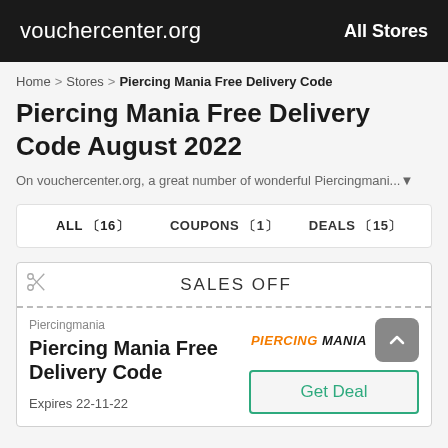vouchercenter.org    All Stores
Home > Stores > Piercing Mania Free Delivery Code
Piercing Mania Free Delivery Code August 2022
On vouchercenter.org, a great number of wonderful Piercingmani...▼
ALL 〔16〕  COUPONS 〔1〕  DEALS 〔15〕
✂ SALES OFF
Piercingmania
Piercing Mania Free Delivery Code
Expires 22-11-22
Get Deal